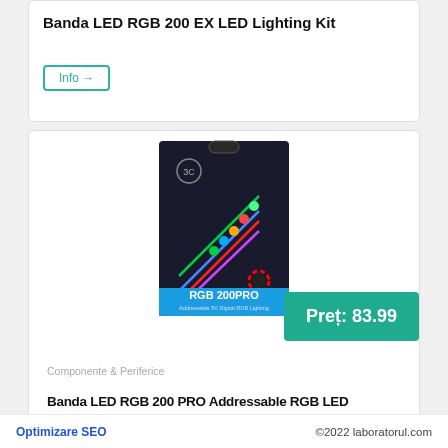Banda LED RGB 200 EX LED Lighting Kit
Info →
[Figure (photo): Product box of RGB 200PRO Addressable RGB LED strip lighting kit, black box with colorful LED strip shown on front, blue label at bottom reading RGB 200PRO]
Preț: 83.99
Componente & Periferice
Banda LED RGB 200 PRO Addressable RGB LED
Optimizare SEO    ©2022 laboratorul.com